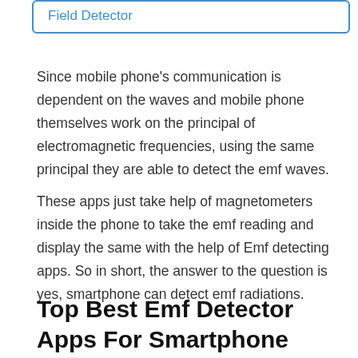Field Detector
Since mobile phone's communication is dependent on the waves and mobile phone themselves work on the principal of electromagnetic frequencies, using the same principal they are able to detect the emf waves.
These apps just take help of magnetometers inside the phone to take the emf reading and display the same with the help of Emf detecting apps. So in short, the answer to the question is yes, smartphone can detect emf radiations.
Top Best Emf Detector Apps For Smartphone